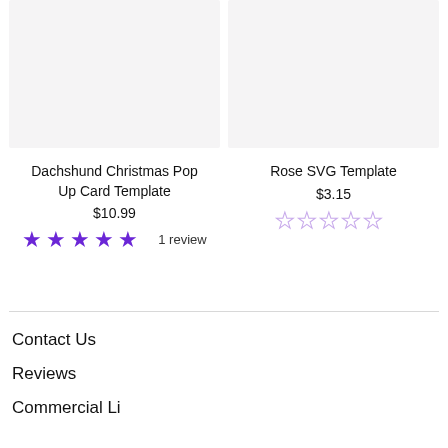[Figure (photo): Product image placeholder for Dachshund Christmas Pop Up Card Template, light gray background]
Dachshund Christmas Pop Up Card Template
$10.99
★★★★★ 1 review
[Figure (photo): Product image placeholder for Rose SVG Template, light gray background]
Rose SVG Template
$3.15
☆☆☆☆☆
Contact Us
Reviews
Commercial Li...